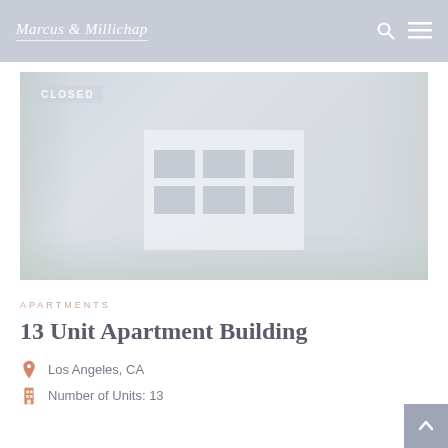Marcus & Millichap
[Figure (photo): Faded exterior photo of a multi-unit apartment building with trees and landscaping, overlaid with CLOSED badge in upper left.]
APARTMENTS
13 Unit Apartment Building
Los Angeles, CA
Number of Units: 13